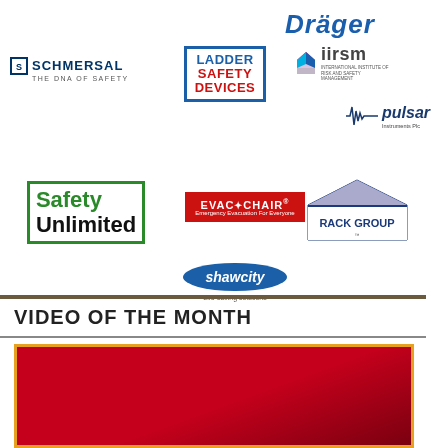[Figure (logo): Dräger logo - blue italic bold text]
[Figure (logo): Schmersal - THE DNA OF SAFETY logo]
[Figure (logo): Ladder Safety Devices logo - blue border box]
[Figure (logo): iirsm - International Institute of Risk and Safety Management logo]
[Figure (logo): Pulsar Instruments Plc logo]
[Figure (logo): Safety Unlimited green logo]
[Figure (logo): Evac+Chair Emergency Evacuation For Everyone logo]
[Figure (logo): Rack Group logo]
[Figure (logo): Shawcity Life-saving solutions logo]
VIDEO OF THE MONTH
[Figure (screenshot): Video thumbnail - red/dark red background video still]